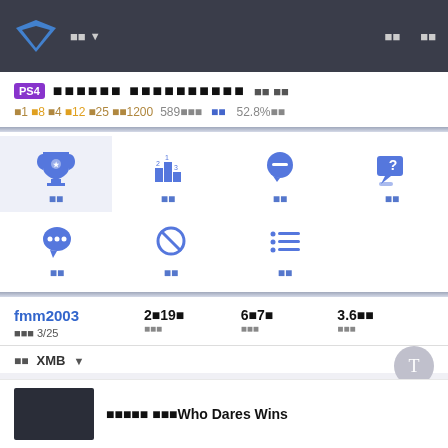Navigation bar with logo, menu, and nav links
PS4 ■■■■■■ ■■■■■■■■■■ ■■ ■■
■1 ■8 ■4 ■12 ■25 ■■1200  589■■■  ■■  52.8%■■
[Figure (infographic): Icon grid with 7 navigation icons: trophy (active), leaderboard, chat bubble, question, speech bubble with dots, blocked/no symbol, list/menu]
fmm2003   2■19■   6■7■   3.6■■
■■■ 3/25   ■■■   ■■■   ■■■
■■ XMB ▼
■■■■■ ■■■Who Dares Wins